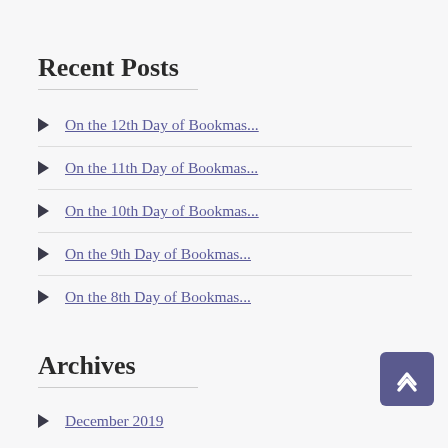Recent Posts
On the 12th Day of Bookmas...
On the 11th Day of Bookmas...
On the 10th Day of Bookmas...
On the 9th Day of Bookmas...
On the 8th Day of Bookmas...
Archives
December 2019